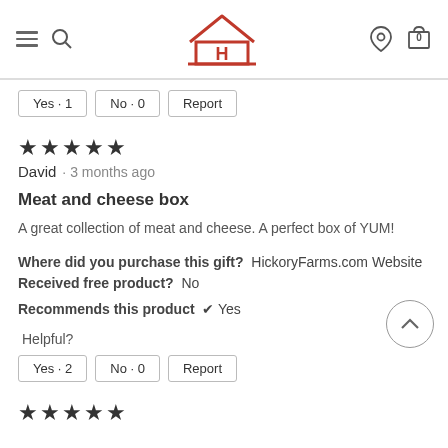Hickory Farms navigation bar with hamburger menu, search, logo, location, and cart icons
Yes · 1   No · 0   Report
★★★★★ David · 3 months ago
Meat and cheese box
A great collection of meat and cheese. A perfect box of YUM!
Where did you purchase this gift? HickoryFarms.com Website
Received free product? No
Recommends this product ✔ Yes
Helpful?
Yes · 2   No · 0   Report
★★★★★ (partial, next review)